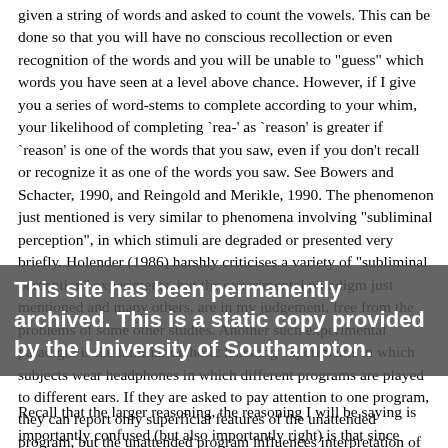given a string of words and asked to count the vowels. This can be done so that you will have no conscious recollection or even recognition of the words and you will be unable to "guess" which words you have seen at a level above chance. However, if I give you a series of word-stems to complete according to your whim, your likelihood of completing `rea-' as `reason' is greater if `reason' is one of the words that you saw, even if you don't recall or recognize it as one of the words you saw. See Bowers and Schacter, 1990, and Reingold and Merikle, 1990. The phenomenon just mentioned is very similar to phenomena involving "subliminal perception", in which stimuli are degraded or presented very briefly. Holender (1986) harshly criticises a variety of "subliminal perception" experiments, but the experimental paradigm just mentioned and many others, are in my judgement, free from the problems of some other studies. Another such experimental paradigm is the familiar dichotic listening experiments in which subjects wear headphones in which different programs are played to different ears. If they are asked to pay attention to one program, they can report only superficial features of the unattended program, but the unattended program influences interpretation of ambiguous sentences in the attended program. See MacKay and Garrett, 1973.
This site has been permanently archived. This is a static copy provided by the University of Southampton.
Recall that the larger reasoning, the reasoning I will be saying is importantly confused (but also importantly right) is that since